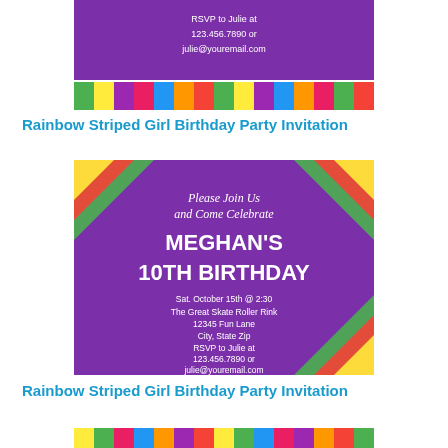[Figure (photo): Top portion of a rainbow striped birthday party invitation card showing colorful vertical stripes at bottom and purple section with RSVP contact info]
Rainbow Striped Girl Birthday Party Invitation
[Figure (photo): Full rainbow striped birthday party invitation card with purple background, diagonal rainbow stripes in corners, white text reading 'Please Join Us and Come Celebrate MEGHAN'S 10TH BIRTHDAY Sat. October 15th @ 2:30 The Great Skate Roller Rink 12345 Fun Lane City, State Zip RSVP to Julie at 123.456.7890 or julie@youremail.com']
Rainbow Striped Girl Birthday Party Invitation
[Figure (photo): Bottom portion of another rainbow striped birthday party invitation card, partially visible, showing colorful horizontal stripes]